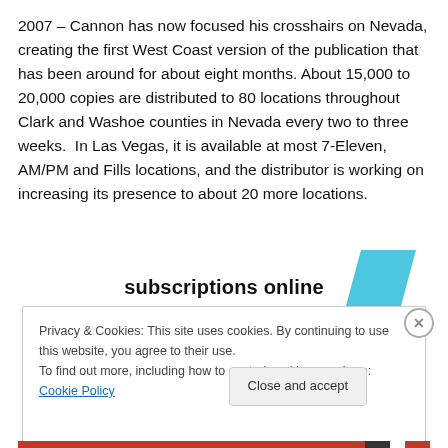2007 – Cannon has now focused his crosshairs on Nevada, creating the first West Coast version of the publication that has been around for about eight months. About 15,000 to 20,000 copies are distributed to 80 locations throughout Clark and Washoe counties in Nevada every two to three weeks.  In Las Vegas, it is available at most 7-Eleven, AM/PM and Fills locations, and the distributor is working on increasing its presence to about 20 more locations.
[Figure (other): Subscriptions online banner with blue parallelogram shape on the right]
Privacy & Cookies: This site uses cookies. By continuing to use this website, you agree to their use.
To find out more, including how to control cookies, see here: Cookie Policy
Close and accept